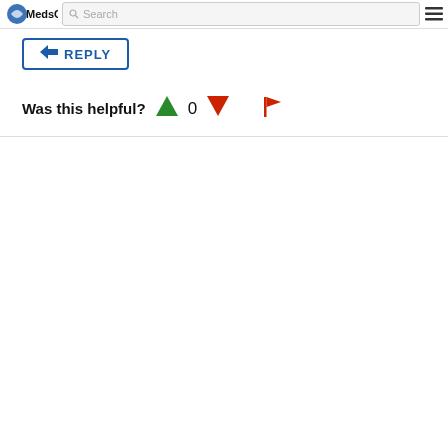MedsChat — Search
REPLY
Was this helpful?  0